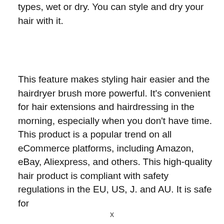types, wet or dry. You can style and dry your hair with it.
This feature makes styling hair easier and the hairdryer brush more powerful. It’s convenient for hair extensions and hairdressing in the morning, especially when you don’t have time. This product is a popular trend on all eCommerce platforms, including Amazon, eBay, Aliexpress, and others. This high-quality hair product is compliant with safety regulations in the EU, US, J. and AU. It is safe for
x